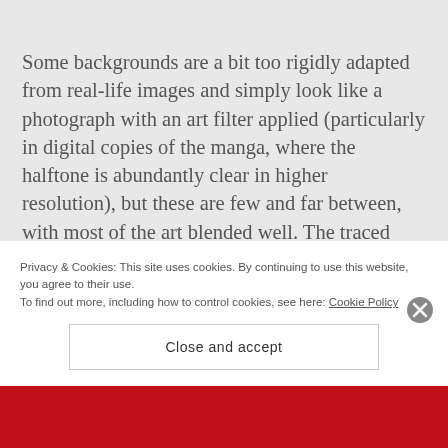Some backgrounds are a bit too rigidly adapted from real-life images and simply look like a photograph with an art filter applied (particularly in digital copies of the manga, where the halftone is abundantly clear in higher resolution), but these are few and far between, with most of the art blended well. The traced backgrounds are limiting
Privacy & Cookies: This site uses cookies. By continuing to use this website, you agree to their use.
To find out more, including how to control cookies, see here: Cookie Policy
Close and accept